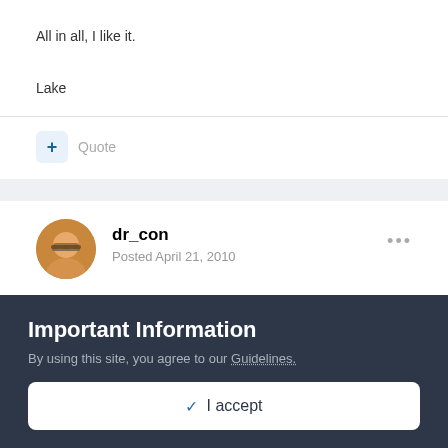All in all, I like it.
Lake
+ Quote
dr_con
Posted April 21, 2010
Important Information
By using this site, you agree to our Guidelines.
✓ I accept